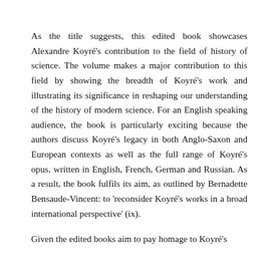As the title suggests, this edited book showcases Alexandre Koyré's contribution to the field of history of science. The volume makes a major contribution to this field by showing the breadth of Koyré's work and illustrating its significance in reshaping our understanding of the history of modern science. For an English speaking audience, the book is particularly exciting because the authors discuss Koyré's legacy in both Anglo-Saxon and European contexts as well as the full range of Koyré's opus, written in English, French, German and Russian. As a result, the book fulfils its aim, as outlined by Bernadette Bensaude-Vincent: to 'reconsider Koyré's works in a broad international perspective' (ix).
Given the edited books aim to pay homage to Koyré's